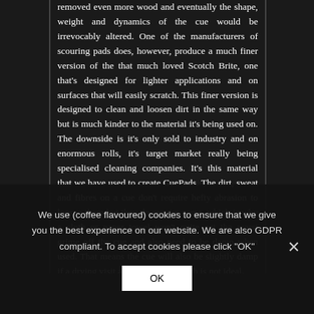removed even more wood and eventually the shape, weight and dynamics of the cue would be irrevocably altered. One of the manufacturers of scouring pads does, however, produce a much finer version of the that much loved Scotch Brite, one that's designed for lighter applications and on surfaces that will easily scratch. This finer version is designed to clean and loosen dirt in the same way but is much kinder to the material it's being used on. The downside is it's only sold to industry and on enormous rolls, it's target market really being specialised cleaning companies. It's this material that we have used to create CuePads. The dirt, sweat and fibres on a cue don't require hefty abrasion to loosen them but they do require some, which is why a cloth or paper towel won't quite get the worst grime off the cue and also need to be damp when used. That means the cue will also be slightly damp if a drying visit after each use, which is not ideal.
We use (coffee flavoured) cookies to ensure that we give you the best experience on our website. We are also GDPR compliant. To accept cookies please click "OK"